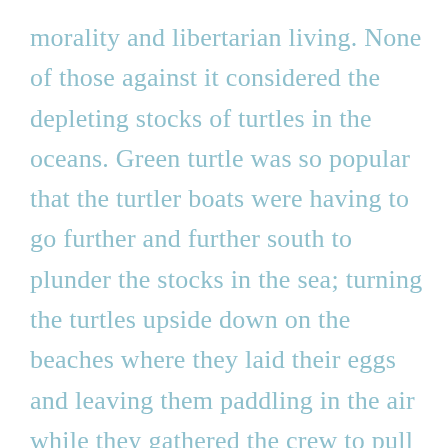morality and libertarian living. None of those against it considered the depleting stocks of turtles in the oceans. Green turtle was so popular that the turtler boats were having to go further and further south to plunder the stocks in the sea; turning the turtles upside down on the beaches where they laid their eggs and leaving them paddling in the air while they gathered the crew to pull them into open cages.

When I first looked into the eating of green turtle I couldn't quite believe it. Was this